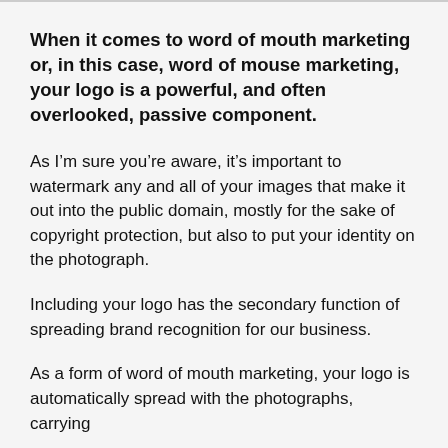When it comes to word of mouth marketing or, in this case, word of mouse marketing, your logo is a powerful, and often overlooked, passive component.
As I’m sure you’re aware, it’s important to watermark any and all of your images that make it out into the public domain, mostly for the sake of copyright protection, but also to put your identity on the photograph.
Including your logo has the secondary function of spreading brand recognition for our business.
As a form of word of mouth marketing, your logo is automatically spread with the photographs, carrying